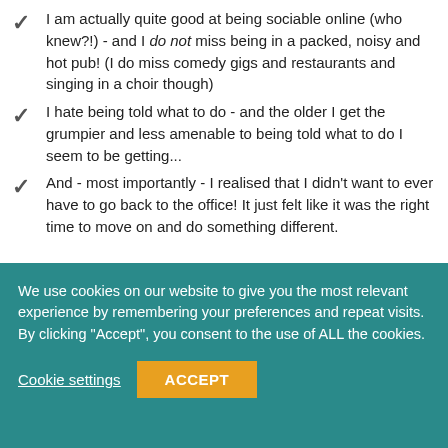I am actually quite good at being sociable online (who knew?!) - and I do not miss being in a packed, noisy and hot pub! (I do miss comedy gigs and restaurants and singing in a choir though)
I hate being told what to do - and the older I get the grumpier and less amenable to being told what to do I seem to be getting...
And - most importantly - I realised that I didn't want to ever have to go back to the office! It just felt like it was the right time to move on and do something different.
We use cookies on our website to give you the most relevant experience by remembering your preferences and repeat visits. By clicking "Accept", you consent to the use of ALL the cookies.
Cookie settings  ACCEPT